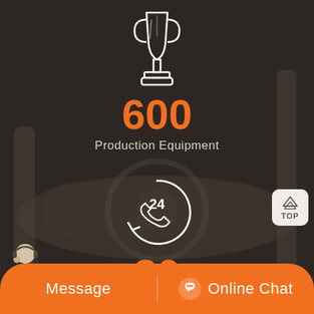[Figure (illustration): White trophy/award icon on dark industrial background]
600
Production Equipment
[Figure (illustration): White 24-hour phone/clock service icon on dark background]
80
Served Countries
[Figure (illustration): TOP navigation button in top-right area]
[Figure (illustration): Customer service agent photo at bottom left]
Message
Online Chat